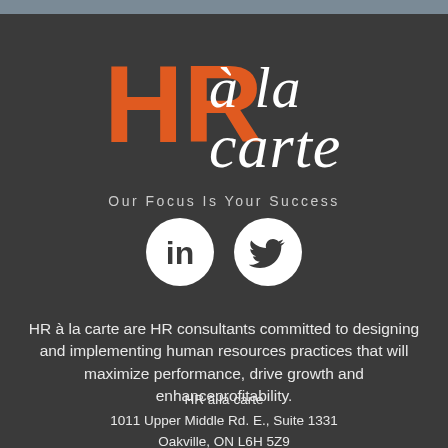[Figure (logo): HR à la carte logo with orange HR letters and cursive white 'à la carte' text, tagline 'Our Focus Is Your Success']
[Figure (illustration): LinkedIn and Twitter social media icons (white circles with dark symbols)]
HR à la carte are HR consultants committed to designing and implementing human resources practices that will maximize performance, drive growth and enhanceprofitability.
HR à la carte
1011 Upper Middle Rd. E., Suite 1331
Oakville, ON L6H 5Z9
Toll-free (Only in Canada) 1-888-919-7422
Email: info@hralacarte.ca